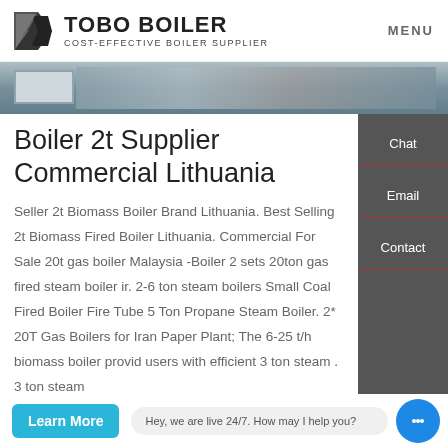TOBO BOILER COST-EFFECTIVE BOILER SUPPLIER | MENU
[Figure (photo): Partial view of industrial boiler or mechanical equipment in a facility setting]
Boiler 2t Supplier Commercial Lithuania
Seller 2t Biomass Boiler Brand Lithuania. Best Selling 2t Biomass Fired Boiler Lithuania. Commercial For Sale 20t gas boiler Malaysia -Boiler 2 sets 20ton gas fired steam boiler ir. 2-6 ton steam boilers Small Coal Fired Boiler Fire Tube 5 Ton Propane Steam Boiler. 2* 20T Gas Boilers for Iran Paper Plant; The 6-25 t/h biomass boiler provid users with efficient 3 ton steam . 3 ton steam